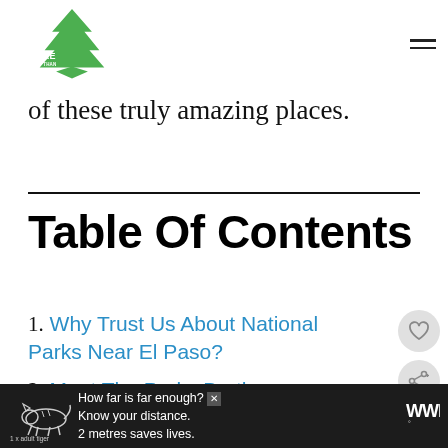More Than Just Parks
of these truly amazing places.
Table Of Contents
1. Why Trust Us About National Parks Near El Paso?
2. Meet The Parks Brothers
[Figure (infographic): Advertisement bar with tiger illustration. Text: How far is far enough? Know your distance. 2 metres saves lives. 1 x adult tiger]
[Figure (logo): More Than Just Parks logo — green arrowhead/mountain shape with text MORE THAN JUST PARKS]